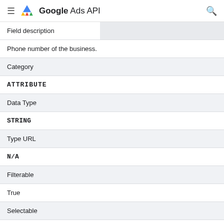Google Ads API
| Field description |  |
| --- | --- |
| Phone number of the business. |  |
| Category |  |
| ATTRIBUTE |  |
| Data Type |  |
| STRING |  |
| Type URL |  |
| N/A |  |
| Filterable |  |
| True |  |
| Selectable |  |